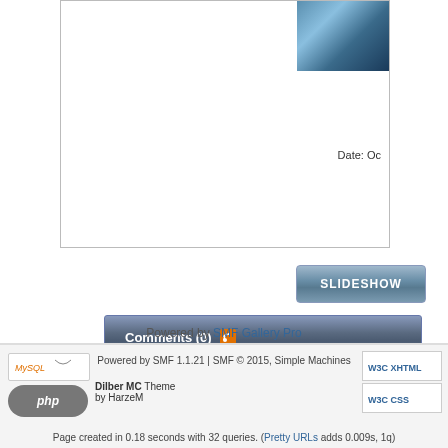[Figure (screenshot): Top panel with image thumbnail (blue fractal/3D render) and date text 'Date: Oc...']
Date: Oc
SLIDESHOW
Comments (0)
Return to Gallery
Welcome to Fractal Forums > Gallery > Linked to Boards > 3d > Mandelbulb 3d
Powered by SMF Gallery Pro
Powered by SMF 1.1.21 | SMF © 2015, Simple Machines
Dilber MC Theme by HarzeM
Page created in 0.18 seconds with 32 queries. (Pretty URLs adds 0.009s, 1q)